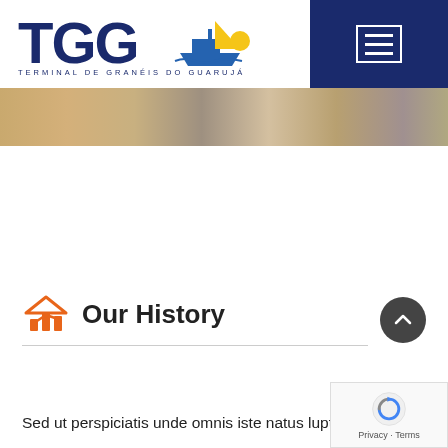[Figure (logo): TGG - Terminal de Granéis do Guarujá logo with ship icon in blue and yellow]
[Figure (photo): Partial cropped banner photo showing faces of people]
Our History
Sed ut perspiciatis unde omnis iste natus luptate